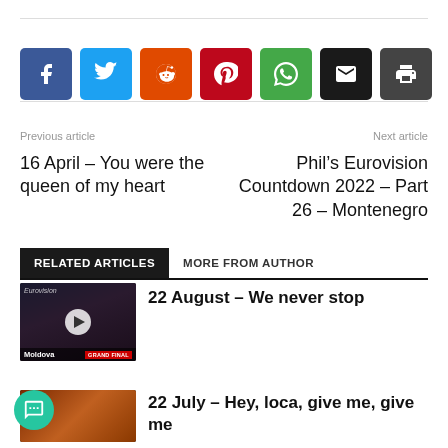[Figure (infographic): Social share buttons row: Facebook (blue), Twitter (cyan), Reddit (orange-red), Pinterest (dark red), WhatsApp (green), Email (black), Print (dark gray)]
Previous article
Next article
16 April – You were the queen of my heart
Phil's Eurovision Countdown 2022 – Part 26 – Montenegro
RELATED ARTICLES
MORE FROM AUTHOR
[Figure (screenshot): Eurovision Moldova Grand Final video thumbnail with play button]
22 August – We never stop
[Figure (screenshot): Orange/brown toned video thumbnail]
22 July – Hey, loca, give me, give me